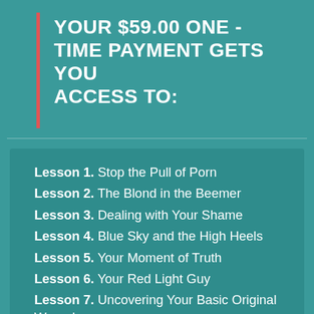YOUR $59.00 ONE-TIME PAYMENT GETS YOU ACCESS TO:
Lesson 1. Stop the Pull of Porn
Lesson 2. The Blond in the Beemer
Lesson 3. Dealing with Your Shame
Lesson 4. Blue Sky and the High Heels
Lesson 5. Your Moment of Truth
Lesson 6. Your Red Light Guy
Lesson 7. Uncovering Your Basic Original Wound
Lesson 8. Who's In Charge